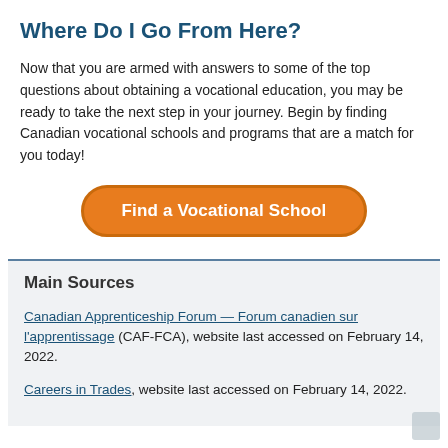Where Do I Go From Here?
Now that you are armed with answers to some of the top questions about obtaining a vocational education, you may be ready to take the next step in your journey. Begin by finding Canadian vocational schools and programs that are a match for you today!
[Figure (other): Orange rounded button labeled 'Find a Vocational School']
Main Sources
Canadian Apprenticeship Forum — Forum canadien sur l'apprentissage (CAF-FCA), website last accessed on February 14, 2022.
Careers in Trades, website last accessed on February 14, 2022.